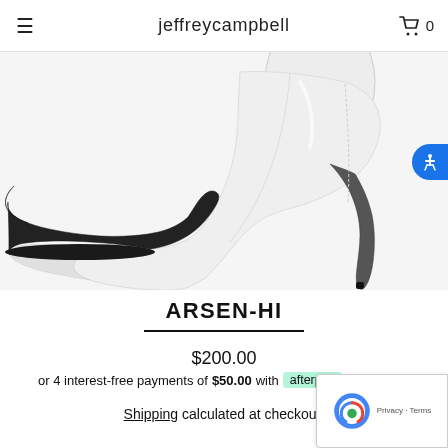jeffreycampbell
[Figure (photo): White pointed-toe stiletto ankle boot (ARSEN-HI) on a white/light gray background, shown from the side. The boot has a high stiletto heel with a black sole.]
ARSEN-HI
$200.00
or 4 interest-free payments of $50.00 with afterpay
Shipping calculated at checkout.